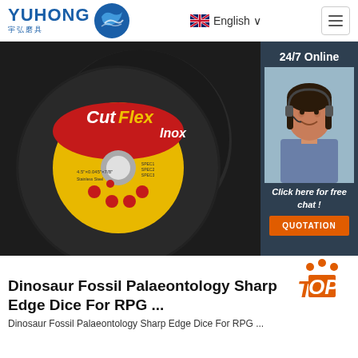[Figure (logo): YUHONG 宇弘磨具 logo with blue wave/globe icon]
English ∨
[Figure (photo): CutFlex Inox cutting discs (black abrasive wheels with yellow label) stacked together]
[Figure (infographic): 24/7 Online customer service panel with female agent wearing headset. Text: 24/7 Online, Click here for free chat!, QUOTATION button]
[Figure (infographic): TOP badge with orange dots and stylized TOP text]
Dinosaur Fossil Palaeontology Sharp Edge Dice For RPG ...
Dinosaur Fossil Palaeontology Sharp Edge Dice For RPG ...